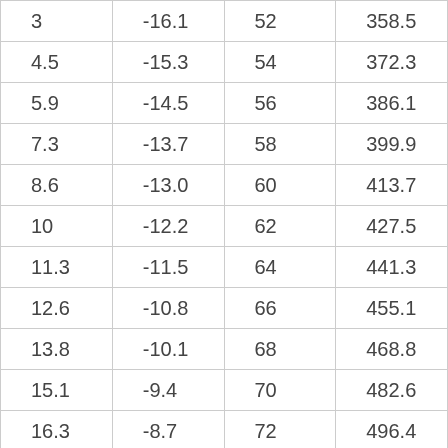| 3 | -16.1 | 52 | 358.5 |
| 4.5 | -15.3 | 54 | 372.3 |
| 5.9 | -14.5 | 56 | 386.1 |
| 7.3 | -13.7 | 58 | 399.9 |
| 8.6 | -13.0 | 60 | 413.7 |
| 10 | -12.2 | 62 | 427.5 |
| 11.3 | -11.5 | 64 | 441.3 |
| 12.6 | -10.8 | 66 | 455.1 |
| 13.8 | -10.1 | 68 | 468.8 |
| 15.1 | -9.4 | 70 | 482.6 |
| 16.3 | -8.7 | 72 | 496.4 |